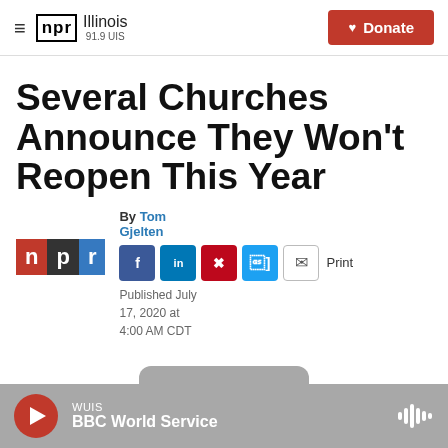NPR Illinois 91.9 UIS — Donate
Several Churches Announce They Won't Reopen This Year
By Tom Gjelten
Published July 17, 2020 at 4:00 AM CDT
[Figure (other): NPR logo and social sharing buttons (Facebook, LinkedIn, Pinterest, Twitter, email, Print)]
[Figure (other): Audio player bar: WUIS — BBC World Service]